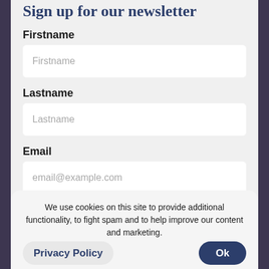Sign up for our newsletter
Firstname
Lastname
Email
Sign Up
We use cookies on this site to provide additional functionality, to fight spam and to help improve our content and marketing.
Privacy Policy
Ok